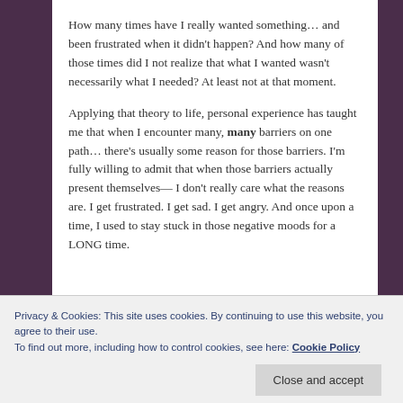How many times have I really wanted something… and been frustrated when it didn't happen? And how many of those times did I not realize that what I wanted wasn't necessarily what I needed? At least not at that moment.
Applying that theory to life, personal experience has taught me that when I encounter many, many barriers on one path… there's usually some reason for those barriers. I'm fully willing to admit that when those barriers actually present themselves— I don't really care what the reasons are. I get frustrated. I get sad. I get angry. And once upon a time, I used to stay stuck in those negative moods for a LONG time.
Privacy & Cookies: This site uses cookies. By continuing to use this website, you agree to their use.
To find out more, including how to control cookies, see here: Cookie Policy